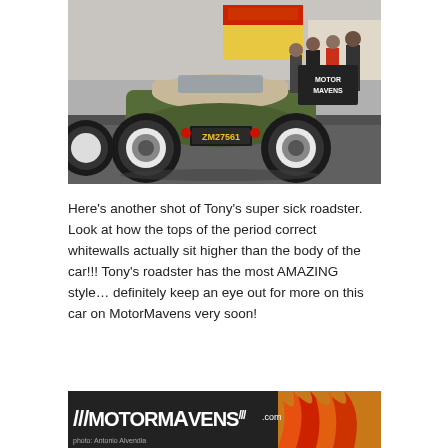[Figure (photo): Rear view of a vintage green hot rod roadster with white wall tires and license plate ZM27561, at a car show with people standing around vendor tents in background]
Here's another shot of Tony's super sick roadster. Look at how the tops of the period correct whitewalls actually sit higher than the body of the car!!! Tony's roadster has the most AMAZING style… definitely keep an eye out for more on this car on MotorMavens very soon!
[Figure (photo): MotorMavens.com logo bar with white slash marks and logo text on dark background, with flame graphic on the right side. Photo credit: Antonio Alvendia]